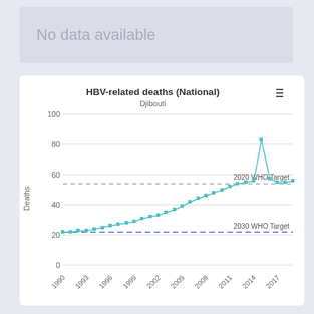No data available
[Figure (line-chart): HBV-related deaths (National) — Djibouti]